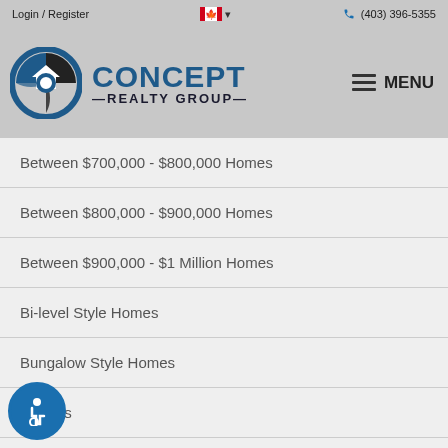Login / Register  🍁 ▾   (403) 396-5355
[Figure (logo): Concept Realty Group logo with circular icon in blue and black, company name in blue and dark text, and hamburger MENU button on right]
Between $700,000 - $800,000 Homes
Between $800,000 - $900,000 Homes
Between $900,000 - $1 Million Homes
Bi-level Style Homes
Bungalow Style Homes
Condos
Corner Lot Homes
Cottage/Cabin Style Homes